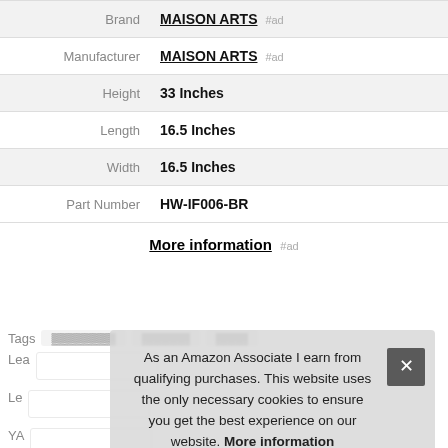| Attribute | Value |
| --- | --- |
| Brand | MAISON ARTS #ad |
| Manufacturer | MAISON ARTS #ad |
| Height | 33 Inches |
| Length | 16.5 Inches |
| Width | 16.5 Inches |
| Part Number | HW-IF006-BR |
More information #ad
Tags
As an Amazon Associate I earn from qualifying purchases. This website uses the only necessary cookies to ensure you get the best experience on our website. More information